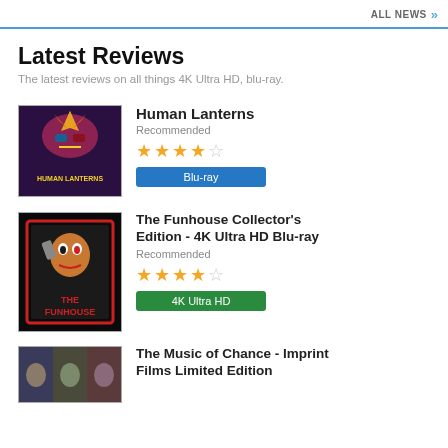ALL NEWS >>
Latest Reviews
The latest reviews on all things 4K Ultra HD, blu-ray.
Human Lanterns
Recommended
[Figure (other): Human Lanterns movie cover art]
Blu-ray
The Funhouse Collector's Edition - 4K Ultra HD Blu-ray
Recommended
[Figure (other): The Funhouse Collector's Edition movie cover art]
4K Ultra HD
The Music of Chance - Imprint Films Limited Edition